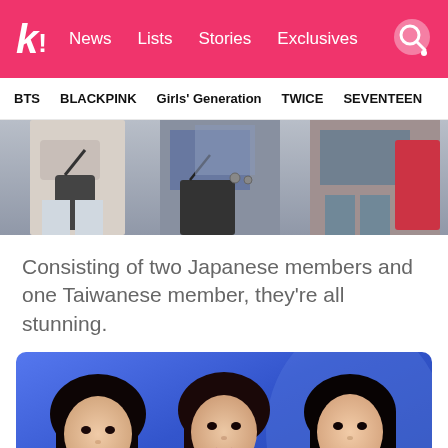k! News  Lists  Stories  Exclusives
BTS  BLACKPINK  Girls' Generation  TWICE  SEVENTEEN
[Figure (photo): Cropped photo showing the waist/hip area of several people standing, carrying handbags, wearing denim and casual clothes]
Consisting of two Japanese members and one Taiwanese member, they're all stunning.
[Figure (photo): Three young Asian women with dark hair posing in front of a blue background, wearing white tops]